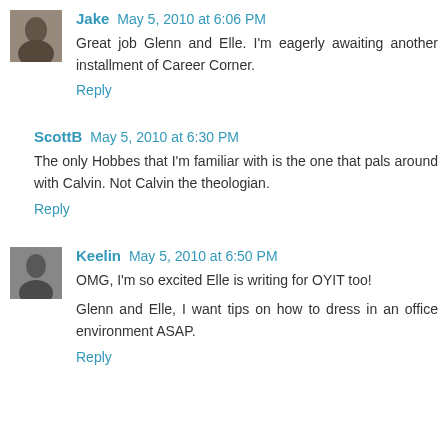[Figure (photo): Small grayscale avatar photo of user Jake]
Jake May 5, 2010 at 6:06 PM
Great job Glenn and Elle. I'm eagerly awaiting another installment of Career Corner.
Reply
ScottB May 5, 2010 at 6:30 PM
The only Hobbes that I'm familiar with is the one that pals around with Calvin. Not Calvin the theologian.
Reply
[Figure (photo): Small grayscale avatar photo of user Keelin]
Keelin May 5, 2010 at 6:50 PM
OMG, I'm so excited Elle is writing for OYIT too!
Glenn and Elle, I want tips on how to dress in an office environment ASAP.
Reply